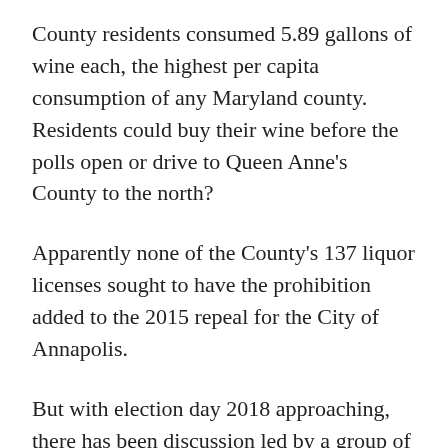County residents consumed 5.89 gallons of wine each, the highest per capita consumption of any Maryland county. Residents could buy their wine before the polls open or drive to Queen Anne's County to the north?
Apparently none of the County's 137 liquor licenses sought to have the prohibition added to the 2015 repeal for the City of Annapolis.
But with election day 2018 approaching, there has been discussion led by a group of liquor licensees in Easton, the cosmopolitan County seat, about repealing the antiquated election day booze ban in the legislature next year.